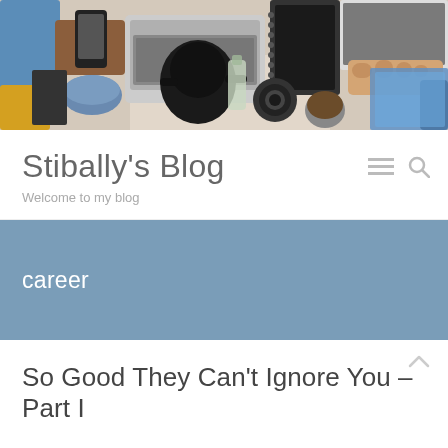[Figure (photo): Overhead aerial view of a desk workspace with laptops, notebooks, phone, camera lens, teapot, snacks and other items on a light wooden surface]
Stibally's Blog
Welcome to my blog
career
So Good They Can't Ignore You – Part I